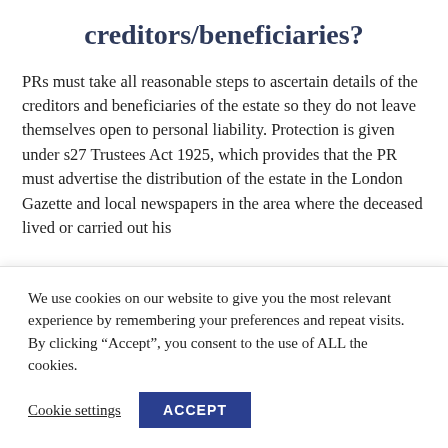creditors/beneficiaries?
PRs must take all reasonable steps to ascertain details of the creditors and beneficiaries of the estate so they do not leave themselves open to personal liability. Protection is given under s27 Trustees Act 1925, which provides that the PR must advertise the distribution of the estate in the London Gazette and local newspapers in the area where the deceased lived or carried out his
We use cookies on our website to give you the most relevant experience by remembering your preferences and repeat visits. By clicking “Accept”, you consent to the use of ALL the cookies.
Cookie settings  ACCEPT